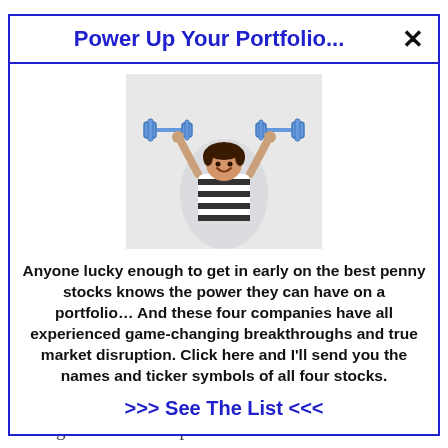resistance, millions of doses are currently sitting idle under the purview of state
Power Up Your Portfolio...
[Figure (illustration): Child lifting dumbbells overhead, drawn cartoon-style dumbbells above head, striped shirt, smiling]
Anyone lucky enough to get in early on the best penny stocks knows the power they can have on a portfolio… And these four companies have all experienced game-changing breakthroughs and true market disruption. Click here and I'll send you the names and ticker symbols of all four stocks.
>>> See The List <<<